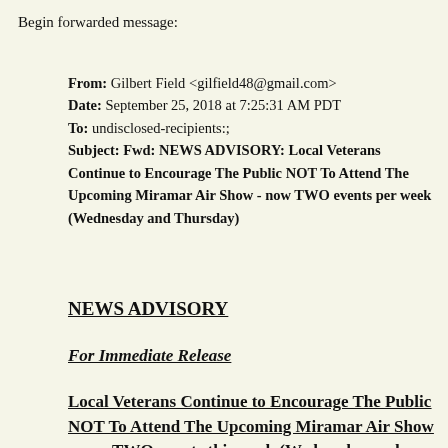Begin forwarded message:
From: Gilbert Field <gilfield48@gmail.com>
Date: September 25, 2018 at 7:25:31 AM PDT
To: undisclosed-recipients:;
Subject: Fwd: NEWS ADVISORY: Local Veterans Continue to Encourage The Public NOT To Attend The Upcoming Miramar Air Show - now TWO events per week (Wednesday and Thursday)
NEWS ADVISORY
For Immediate Release
Local Veterans Continue to Encourage The Public NOT To Attend The Upcoming Miramar Air Show - now TWO events this week (Wednesday and Thursday)